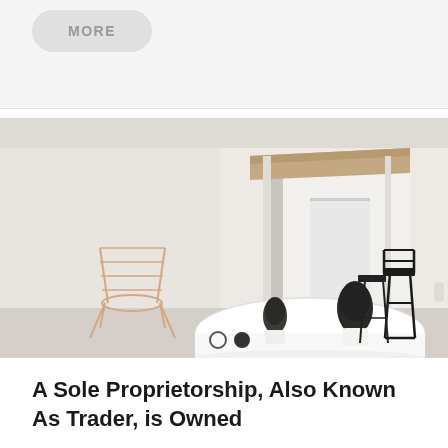[Figure (other): Gray rounded rectangle button with text MORE in gray uppercase letters]
[Figure (photo): Interior room photo showing a minimalist white room with an open doorway, a light wood wireframe chair on the left, a round white table in the foreground with small pinecone decorations, and black metal bar stools on the right. Wooden beam visible above the doorway. Carousel navigation dots (empty circle and filled circle) overlaid at the bottom.]
A Sole Proprietorship, Also Known As Trader, is Owned